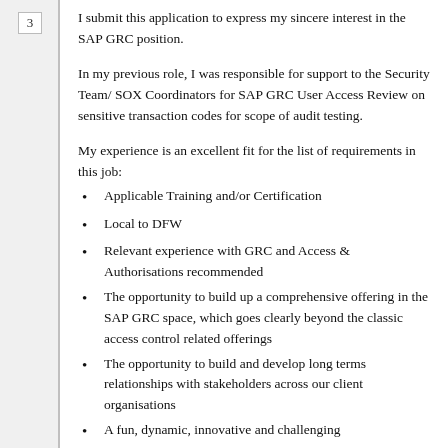3
I submit this application to express my sincere interest in the SAP GRC position.
In my previous role, I was responsible for support to the Security Team/ SOX Coordinators for SAP GRC User Access Review on sensitive transaction codes for scope of audit testing.
My experience is an excellent fit for the list of requirements in this job:
Applicable Training and/or Certification
Local to DFW
Relevant experience with GRC and Access & Authorisations recommended
The opportunity to build up a comprehensive offering in the SAP GRC space, which goes clearly beyond the classic access control related offerings
The opportunity to build and develop long terms relationships with stakeholders across our client organisations
A fun, dynamic, innovative and challenging